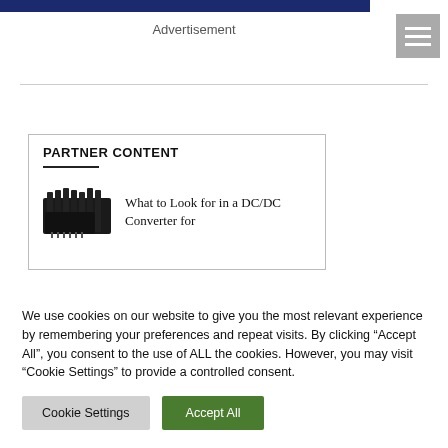Advertisement
PARTNER CONTENT
[Figure (photo): DC/DC converter electronic components, black heat-sink style modules]
What to Look for in a DC/DC Converter for
We use cookies on our website to give you the most relevant experience by remembering your preferences and repeat visits. By clicking “Accept All”, you consent to the use of ALL the cookies. However, you may visit "Cookie Settings" to provide a controlled consent.
Cookie Settings
Accept All